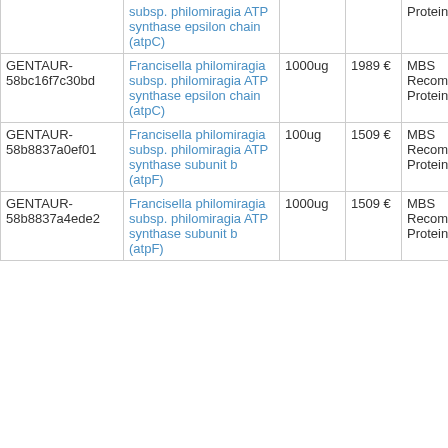| ID | Product | Amount | Price | Supplier | Species |
| --- | --- | --- | --- | --- | --- |
|  | subsp. philomiragia ATP synthase epsilon chain (atpC) |  |  | Proteins |  |
| GENTAUR-58bc16f7c30bd | Francisella philomiragia subsp. philomiragia ATP synthase epsilon chain (atpC) | 1000ug | 1989 € | MBS Recombinant Proteins | human |
| GENTAUR-58b8837a0ef01 | Francisella philomiragia subsp. philomiragia ATP synthase subunit b (atpF) | 100ug | 1509 € | MBS Recombinant Proteins | human |
| GENTAUR-58b8837a4ede2 | Francisella philomiragia subsp. philomiragia ATP synthase subunit b (atpF) | 1000ug | 1509 € | MBS Recombinant Proteins | human |